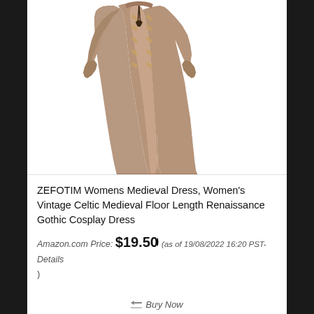[Figure (photo): A taupe/mocha colored medieval floor-length dress with gold embroidery trim along the front panels and sleeves, tied at the neckline with a dark cord, displayed on a model or mannequin against a white background.]
ZEFOTIM Womens Medieval Dress, Women's Vintage Celtic Medieval Floor Length Renaissance Gothic Cosplay Dress
Amazon.com Price: $19.50 (as of 19/08/2022 16:20 PST-
Details
)
Buy Now